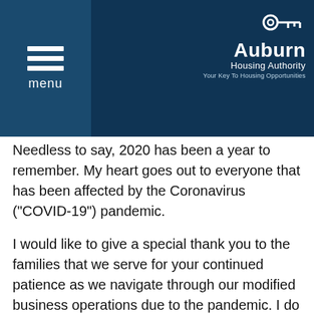[Figure (logo): Auburn Housing Authority logo with key icon and tagline 'Your Key To Housing Opportunities']
Needless to say, 2020 has been a year to remember. My heart goes out to everyone that has been affected by the Coronavirus ("COVID-19") pandemic.
I would like to give a special thank you to the families that we serve for your continued patience as we navigate through our modified business operations due to the pandemic. I do apologize for the inconvenience our office closure may have caused. Although we are starting to see progress in the fight against COVID-19, the Roanoke Housing Authority ("RHA") will continue with Phase 2 of its Reopening Plan due to the continued threat of